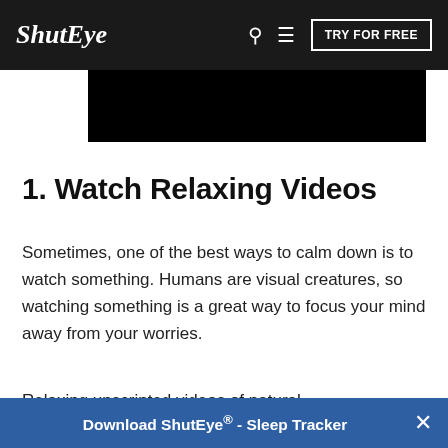ShutEye | TRY FOR FREE
[Figure (photo): Black rectangular image area, part of a video or banner image]
1. Watch Relaxing Videos
Sometimes, one of the best ways to calm down is to watch something. Humans are visual creatures, so watching something is a great way to focus your mind away from your worries.
Relaxing unscripted videos of natural...
Download ShutEye® - Sleep Tracker